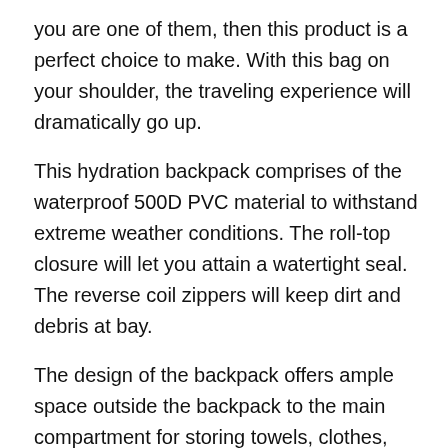you are one of them, then this product is a perfect choice to make. With this bag on your shoulder, the traveling experience will dramatically go up.
This hydration backpack comprises of the waterproof 500D PVC material to withstand extreme weather conditions. The roll-top closure will let you attain a watertight seal. The reverse coil zippers will keep dirt and debris at bay.
The design of the backpack offers ample space outside the backpack to the main compartment for storing towels, clothes, personal things, and other belongings separately.
The mesh shoulder straps and chest clips will lock the backpack in one position securely. The air mesh POD back-panel promotes the proper flow of air while keeping the body moisture-free when you are traveling. The